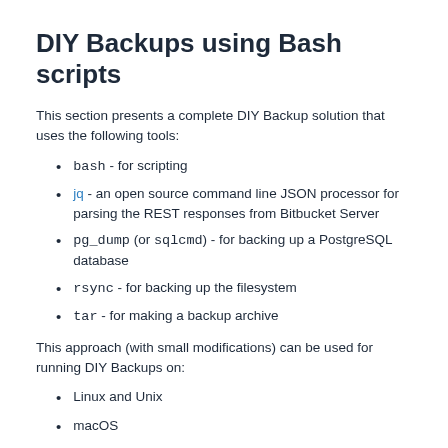DIY Backups using Bash scripts
This section presents a complete DIY Backup solution that uses the following tools:
bash - for scripting
jq - an open source command line JSON processor for parsing the REST responses from Bitbucket Server
pg_dump (or sqlcmd) - for backing up a PostgreSQL database
rsync - for backing up the filesystem
tar - for making a backup archive
This approach (with small modifications) can be used for running DIY Backups on:
Linux and Unix
macOS
Windows with cygwin (note that cygwin Git